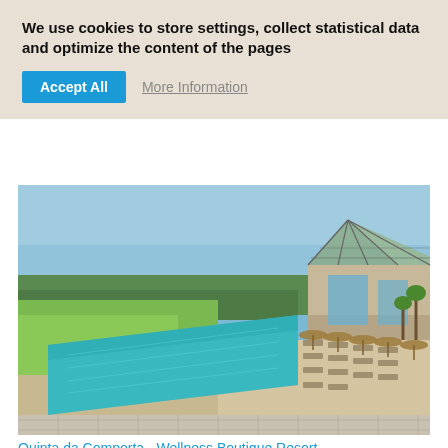We use cookies to store settings, collect statistical data and optimize the content of the pages
Accept All
More Information
[Figure (photo): Aerial/perspective view of a luxury resort infinity pool surrounded by green fields and palm trees, with a glass pavilion building and thatched sun umbrellas with loungers on the right side.]
Quinta da Comporta - Wellness Boutique Resort
Carvalhal
DESTINATIONS
[Figure (photo): Partial view of another resort or outdoor area at the bottom of the page.]